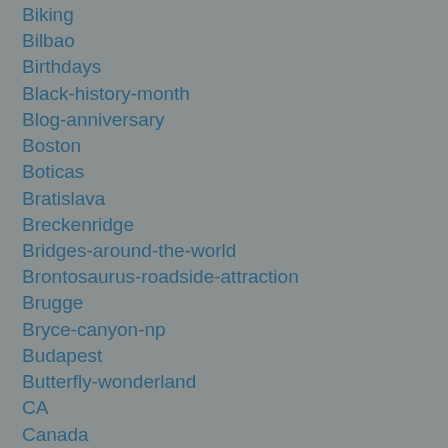Biking
Bilbao
Birthdays
Black-history-month
Blog-anniversary
Boston
Boticas
Bratislava
Breckenridge
Bridges-around-the-world
Brontosaurus-roadside-attraction
Brugge
Bryce-canyon-np
Budapest
Butterfly-wonderland
CA
Canada
Canoe-races
Car-free-townsvillages
Caribbean
Carlsbad-caverns-np